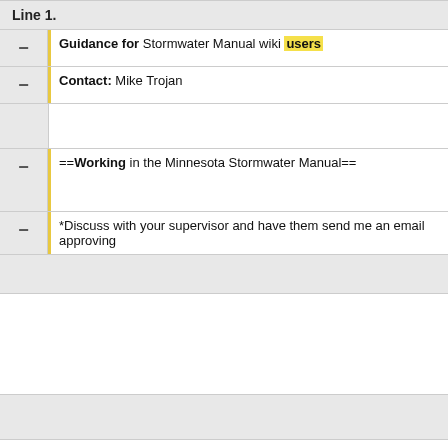Line 1:
Guidance for Stormwater Manual wiki users
Contact: Mike Trojan
==Working in the Minnesota Stormwater Manual==
*Discuss with your supervisor and have them send me an email approving